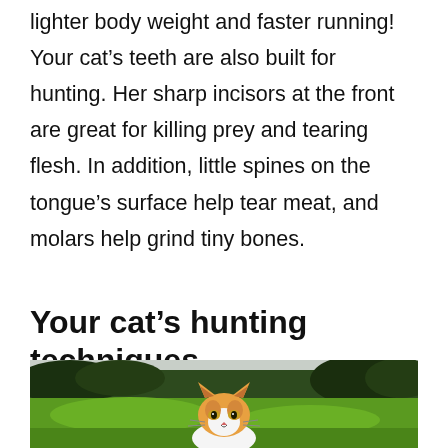lighter body weight and faster running! Your cat's teeth are also built for hunting. Her sharp incisors at the front are great for killing prey and tearing flesh. In addition, little spines on the tongue's surface help tear meat, and molars help grind tiny bones.
Your cat's hunting techniques
[Figure (photo): An orange and white cat standing in a grassy field outdoors, looking directly at the camera. Green shrubs and trees are visible in the background under a light sky.]